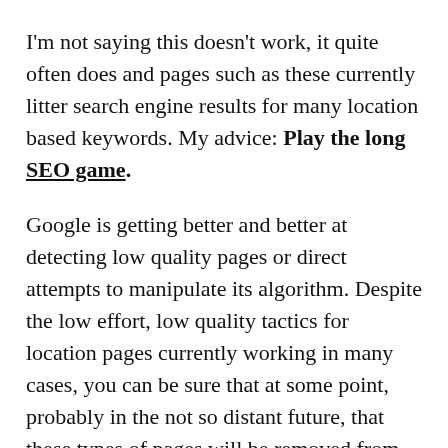I'm not saying this doesn't work, it quite often does and pages such as these currently litter search engine results for many location based keywords. My advice: Play the long SEO game.
Google is getting better and better at detecting low quality pages or direct attempts to manipulate its algorithm. Despite the low effort, low quality tactics for location pages currently working in many cases, you can be sure that at some point, probably in the not so distant future, that these types of pages will be removed from the search results. Your entire site might also get a penalty which could seriously affect your revenue.
These low quality location pages can be seen as